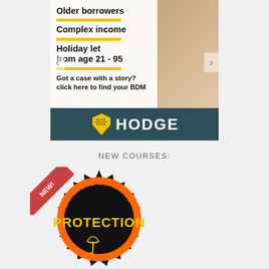[Figure (infographic): Hodge Bank advertisement banner showing: 'Older borrowers', 'Complex income', 'Holiday let from age 21 - 95', 'Got a case with a story? click here to find your BDM', with Hodge shield logo on dark teal background. Navigation arrows on sides.]
NEW COURSES:
[Figure (logo): Black starburst badge with orange inner ring and text 'EXTENDED LEARNING' arcing around top. Center shows 'PROTECTION' in yellow bold text with umbrella icon beneath. Red ribbon banner in top-left corner with 'NEW!' text.]